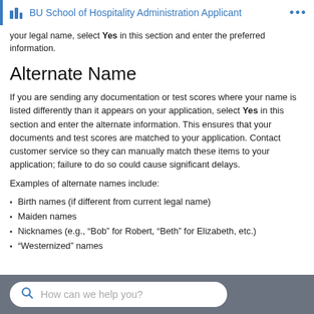BU School of Hospitality Administration Applicant
your legal name, select Yes in this section and enter the preferred information.
Alternate Name
If you are sending any documentation or test scores where your name is listed differently than it appears on your application, select Yes in this section and enter the alternate information. This ensures that your documents and test scores are matched to your application. Contact customer service so they can manually match these items to your application; failure to do so could cause significant delays.
Examples of alternate names include:
Birth names (if different from current legal name)
Maiden names
Nicknames (e.g., “Bob” for Robert, “Beth” for Elizabeth, etc.)
“Westernized” names
How can we help you?